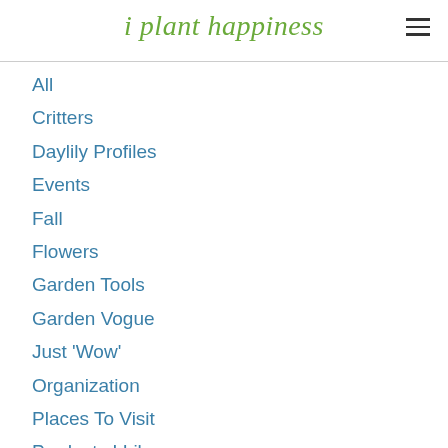i plant happiness
All
Critters
Daylily Profiles
Events
Fall
Flowers
Garden Tools
Garden Vogue
Just 'Wow'
Organization
Places To Visit
Products I Like
Projects
Shade Plants
Spring
Succulents
Thoughts To Ponder